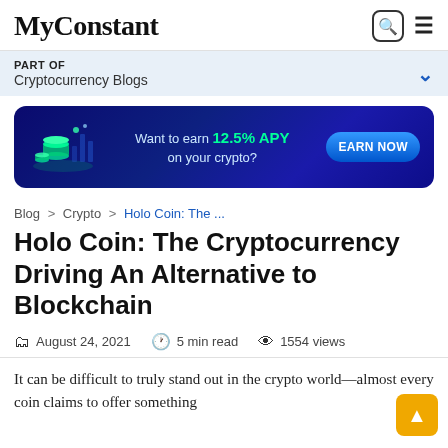MyConstant
PART OF
Cryptocurrency Blogs
[Figure (infographic): Blue gradient advertisement banner for MyConstant: 'Want to earn 12.5% APY on your crypto?' with an 'EARN NOW' button and a glowing green crypto coin illustration on the left.]
Blog > Crypto > Holo Coin: The ...
Holo Coin: The Cryptocurrency Driving An Alternative to Blockchain
August 24, 2021  5 min read  1554 views
It can be difficult to truly stand out in the crypto world—almost every coin claims to offer something